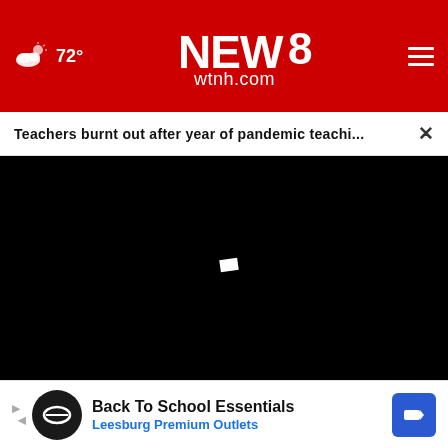72° NEWS 8 wtnh.com
Teachers burnt out after year of pandemic teachi...
[Figure (screenshot): Black video player area with a small white play icon in the center]
Investigating discrimination...
jobs lost due to the pandemic?
[Figure (screenshot): Advertisement banner: Back To School Essentials – Leesburg Premium Outlets, with circular logo icon and blue road sign icon]